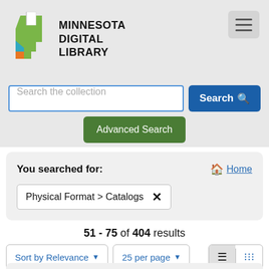[Figure (logo): Minnesota Digital Library logo with Minnesota state shape in green, blue, and orange colors with a white document/flag element]
MINNESOTA DIGITAL LIBRARY
Search the collection
Search
Advanced Search
You searched for:
Home
Physical Format > Catalogs ✕
51 - 75 of 404 results
Sort by Relevance ▾
25 per page ▾